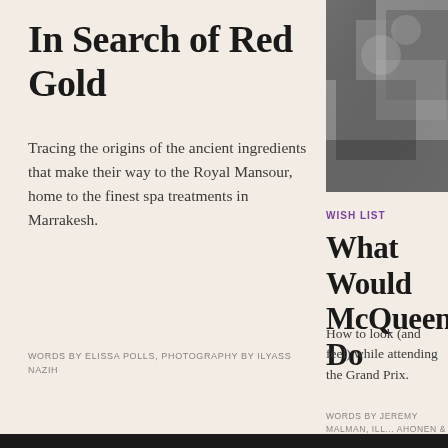In Search of Red Gold
Tracing the origins of the ancient ingredients that make their way to the Royal Mansour, home to the finest spa treatments in Marrakesh.
WORDS BY ELISSA POLLS, PHOTOGRAPHY BY ILYASS NAZIH
[Figure (photo): Black and white photograph of racing scene, partially cropped on right side of page]
WISH LIST
What Would McQueen Do
How to look (and feel) while attending the Grand Prix.
WORDS BY JEREMY MALMAN, ILL... AHONEN & LAMBERG